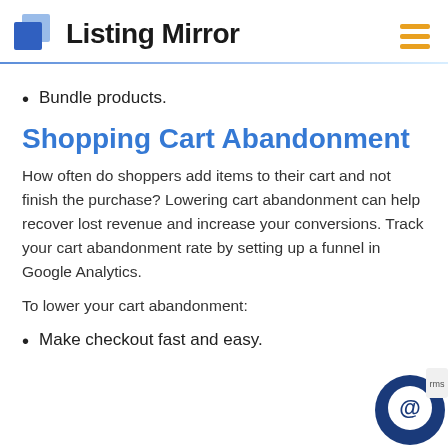Listing Mirror
Bundle products.
Shopping Cart Abandonment
How often do shoppers add items to their cart and not finish the purchase? Lowering cart abandonment can help recover lost revenue and increase your conversions. Track your cart abandonment rate by setting up a funnel in Google Analytics.
To lower your cart abandonment:
Make checkout fast and easy.
[Figure (illustration): Chat support bubble icon in the bottom right corner]